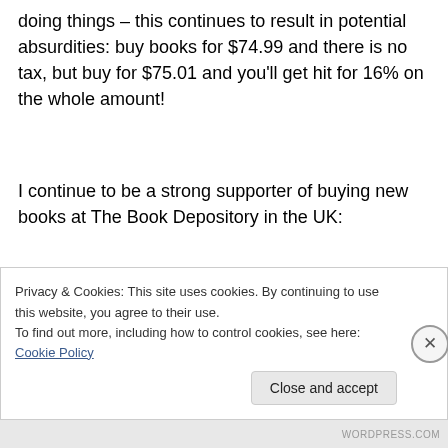doing things – this continues to result in potential absurdities: buy books for $74.99 and there is no tax, but buy for $75.01 and you'll get hit for 16% on the whole amount!
I continue to be a strong supporter of buying new books at The Book Depository in the UK:
1. on most items their prices are similar or only slightly more expensive than Amazon but all orders are postage-free even for very cheap books (this helps keep you within the $75 limit)
Privacy & Cookies: This site uses cookies. By continuing to use this website, you agree to their use.
To find out more, including how to control cookies, see here: Cookie Policy